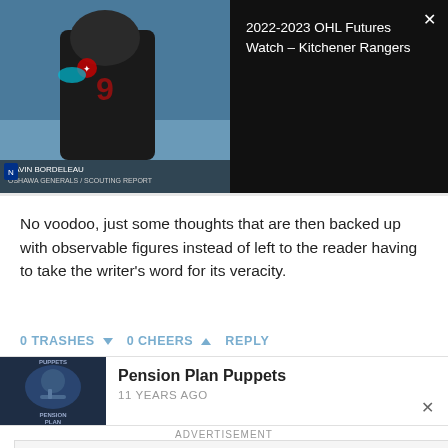[Figure (screenshot): Video thumbnail showing hockey player in dark jersey with number 9, on ice. Dark background panel shows video title.]
2022-2023 OHL Futures Watch – Kitchener Rangers
No voodoo, just some thoughts that are then backed up with observable figures instead of left to the reader having to take the writer's word for its veracity.
0 TRASHES  0 CHEERS  REPLY
Pension Plan Puppets
11 YEARS AGO
ADVERTISEMENT
Perfect activity for everyone Topgolf